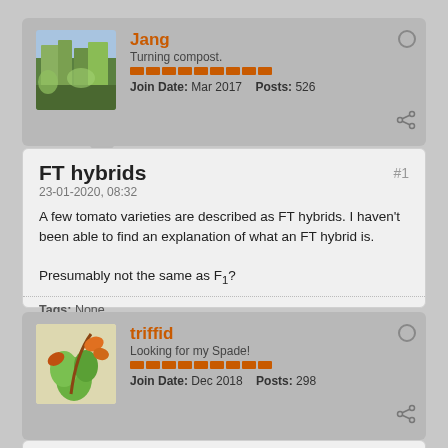Jang
Turning compost.
Join Date: Mar 2017  Posts: 526
FT hybrids
23-01-2020, 08:32
A few tomato varieties are described as FT hybrids. I haven't been able to find an explanation of what an FT hybrid is.

Presumably not the same as F1?
Tags: None
triffid
Looking for my Spade!
Join Date: Dec 2018  Posts: 298
23-01-2020, 11:31
#2